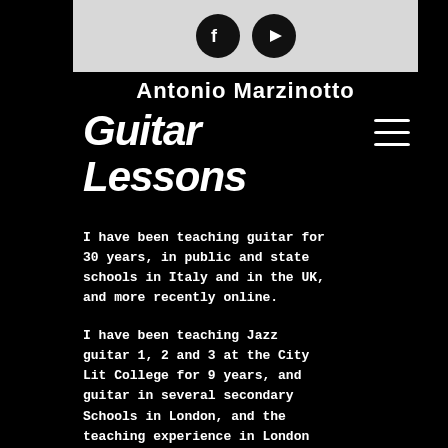[Figure (other): Header bar with Facebook and YouTube social media icons on light gray background]
Antonio Marzinotto
Guitar Lessons
[Figure (other): Hamburger menu icon (three horizontal lines) in top right]
I have been teaching guitar for 30 years, in public and state schools in Italy and in the UK, and more recently online.
I have been teaching Jazz guitar 1, 2 and 3 at the City Lit College for 9 years, and guitar in several secondary Schools in London, and the teaching experience in London has given me a real flavor of what teaching in a multicultural society means, as